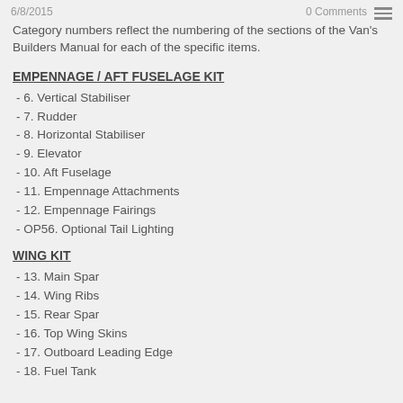6/8/2015    0 Comments
Category numbers reflect the numbering of the sections of the Van's Builders Manual for each of the specific items.
EMPENNAGE / AFT FUSELAGE KIT
- 6. Vertical Stabiliser
- 7. Rudder
- 8. Horizontal Stabiliser
- 9. Elevator
- 10. Aft Fuselage
- 11. Empennage Attachments
- 12. Empennage Fairings
- OP56. Optional Tail Lighting
WING KIT
- 13. Main Spar
- 14. Wing Ribs
- 15. Rear Spar
- 16. Top Wing Skins
- 17. Outboard Leading Edge
- 18. Fuel Tank